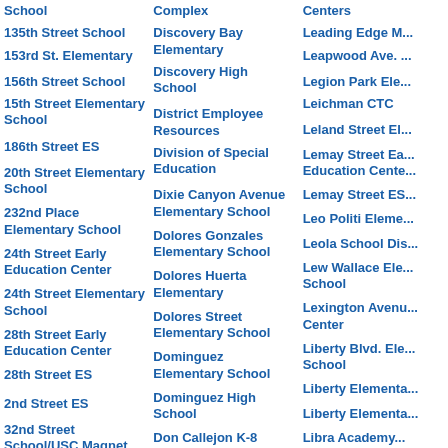School
Complex
Centers
135th Street School
Discovery Bay Elementary
Leading Edge M...
153rd St. Elementary
Discovery High School
Leapwood Ave. ...
156th Street School
District Employee Resources
Legion Park Ele...
15th Street Elementary School
Division of Special Education
Leichman CTC
186th Street ES
Dixie Canyon Avenue Elementary School
Leland Street El...
20th Street Elementary School
Dolores Gonzales Elementary School
Lemay Street Ea... Education Cente...
232nd Place Elementary School
Dolores Huerta Elementary
Lemay Street ES...
24th Street Early Education Center
Dolores Street Elementary School
Leo Politi Eleme...
24th Street Elementary School
Dominguez Elementary School
Leola School Dis...
28th Street Early Education Center
Dominguez High School
Lew Wallace Ele... School
28th Street ES
Don Callejon K-8 School
Lexington Avenu... Center
2nd Street ES
Don Juan Avila Elementary School
Liberty Blvd. Ele... School
32nd Street School/USC Magnet
Don Juan Avila Middle School
Liberty Elementa...
36th Street Early Education Center
Dona Merced Elementary School
Liberty Elementa...
37th Street Early Education
Donald Lum Elementary
Libra Academy...